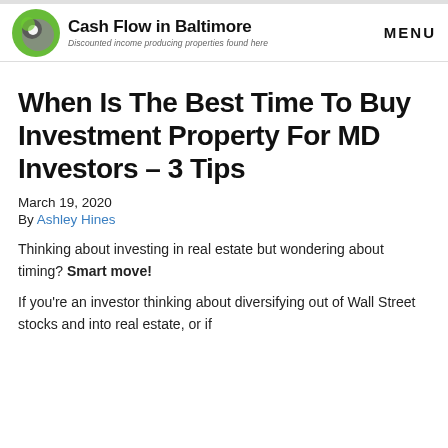Cash Flow in Baltimore — Discounted income producing properties found here | MENU
When Is The Best Time To Buy Investment Property For MD Investors – 3 Tips
March 19, 2020
By Ashley Hines
Thinking about investing in real estate but wondering about timing? Smart move!
If you're an investor thinking about diversifying out of Wall Street stocks and into real estate, or if...